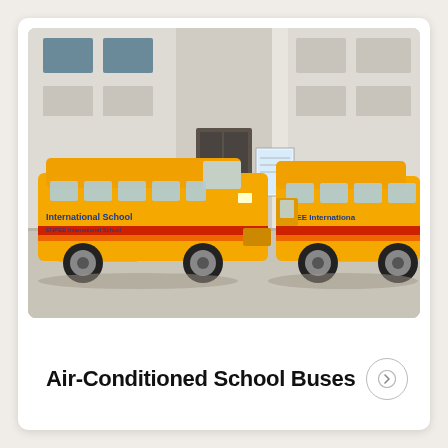[Figure (photo): Two yellow school buses labeled 'ENPEE International School' parked in front of a white multi-story school building. The buses have red and orange horizontal stripes and blue text. The building has large windows and a main entrance with steps.]
Air-Conditioned School Buses